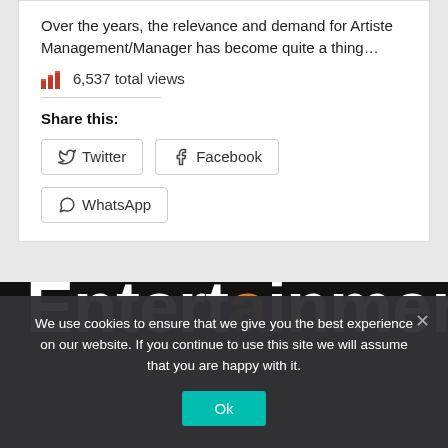Over the years, the relevance and demand for Artiste Management/Manager has become quite a thing…
6,537 total views
Share this:
Twitter  Facebook  WhatsApp
[Figure (screenshot): Entertainment website logo on black background with large white bold text reading 'Entertainment' with an orange-colored dot on the letter 'i']
We use cookies to ensure that we give you the best experience on our website. If you continue to use this site we will assume that you are happy with it.
Ok